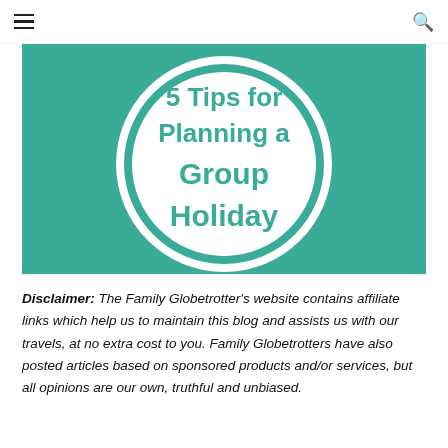≡  🔍
[Figure (illustration): Teal/green square background with a white circle containing teal text '5 Tips for Planning a Group Holiday']
Disclaimer: The Family Globetrotter's website contains affiliate links which help us to maintain this blog and assists us with our travels, at no extra cost to you. Family Globetrotters have also posted articles based on sponsored products and/or services, but all opinions are our own, truthful and unbiased.